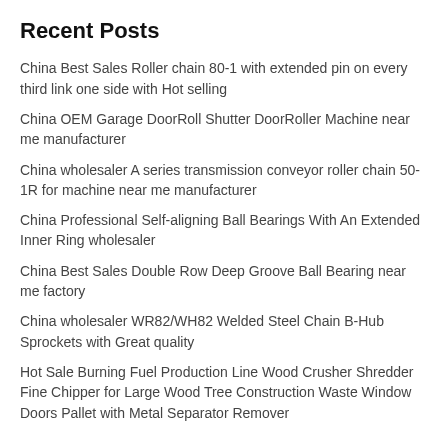Recent Posts
China Best Sales Roller chain 80-1 with extended pin on every third link one side with Hot selling
China OEM Garage DoorRoll Shutter DoorRoller Machine near me manufacturer
China wholesaler A series transmission conveyor roller chain 50-1R for machine near me manufacturer
China Professional Self-aligning Ball Bearings With An Extended Inner Ring wholesaler
China Best Sales Double Row Deep Groove Ball Bearing near me factory
China wholesaler WR82/WH82 Welded Steel Chain B-Hub Sprockets with Great quality
Hot Sale Burning Fuel Production Line Wood Crusher Shredder Fine Chipper for Large Wood Tree Construction Waste Window Doors Pallet with Metal Separator Remover